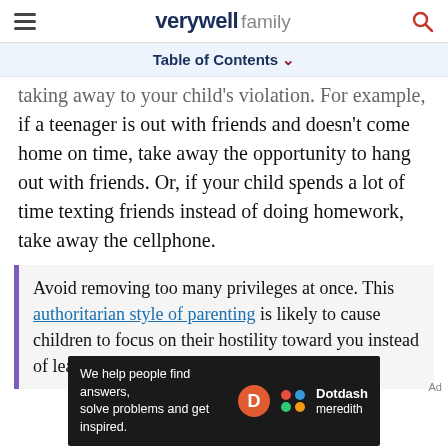verywell family
Table of Contents
taking away to your child's violation. For example, if a teenager is out with friends and doesn't come home on time, take away the opportunity to hang out with friends. Or, if your child spends a lot of time texting friends instead of doing homework, take away the cellphone.
Avoid removing too many privileges at once. This authoritarian style of parenting is likely to cause children to focus on their hostility toward you instead of learning from their mistakes.
[Figure (screenshot): Dotdash Meredith advertisement banner: 'We help people find answers, solve problems and get inspired.']